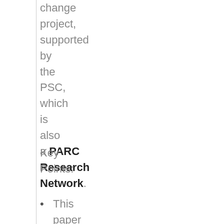change project, supported by the PSC, which is also a PARC Research Network.
Key Points:
This paper finds a